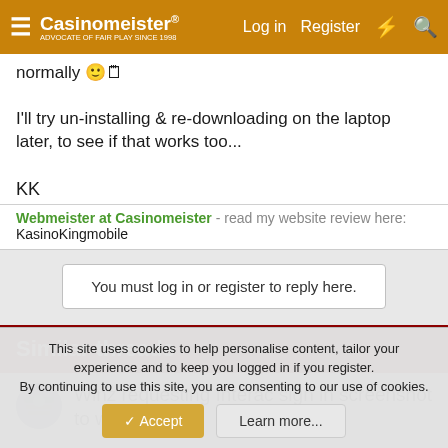Casinomeister - Log in - Register
normally 🙂 I'll try un-installing & re-downloading on the laptop later, to see if that works too...

KK
Webmeister at Casinomeister - read my website review here: KasinoKingmobile
You must log in or register to reply here.
Similar threads
Winz requesting Interac sign in screenshot to withdrawl.
This site uses cookies to help personalise content, tailor your experience and to keep you logged in if you register. By continuing to use this site, you are consenting to our use of cookies.